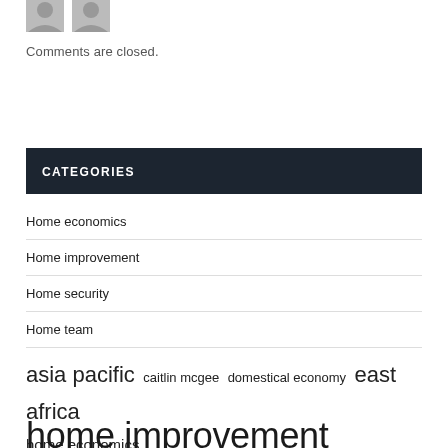[Figure (illustration): Two small gray silhouette/avatar icons at the top left]
Comments are closed.
CATEGORIES
Home economics
Home improvement
Home security
Home team
asia pacific  caitlin mcgee  domestical economy  east africa  home economics
home improvement